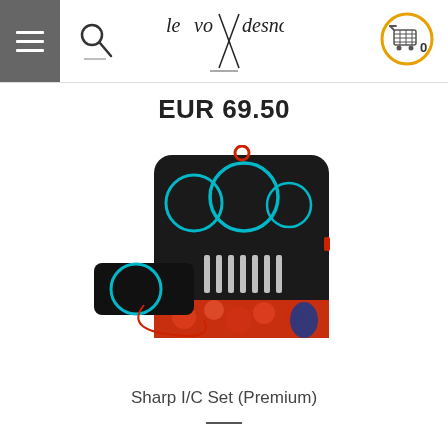levo desno — navigation header with hamburger menu, search, logo, and cart
EUR 69.50
[Figure (photo): A knitting needle interchangeable circular needle set in a black fabric case with red floral lining, teal cables, and metal needle tips displayed in a roll-out pouch.]
Sharp I/C Set (Premium)